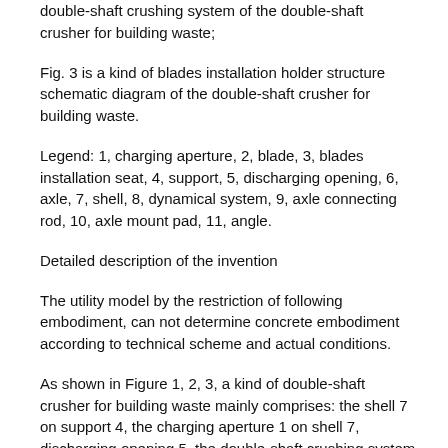double-shaft crushing system of the double-shaft crusher for building waste;
Fig. 3 is a kind of blades installation holder structure schematic diagram of the double-shaft crusher for building waste.
Legend: 1, charging aperture, 2, blade, 3, blades installation seat, 4, support, 5, discharging opening, 6, axle, 7, shell, 8, dynamical system, 9, axle connecting rod, 10, axle mount pad, 11, angle.
Detailed description of the invention
The utility model by the restriction of following embodiment, can not determine concrete embodiment according to technical scheme and actual conditions.
As shown in Figure 1, 2, 3, a kind of double-shaft crusher for building waste mainly comprises: the shell 7 on support 4, the charging aperture 1 on shell 7, discharging opening 5, the double-shaft crushing system of shell 7 inside; Described double-shaft crushing system is parallel to each other primarily of two and axle 6 in same level, the blades installation seat 3 of evenly installing on axle 6, the power